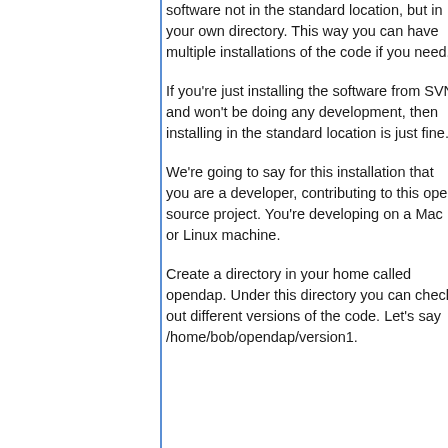software not in the standard location, but in your own directory. This way you can have multiple installations of the code if you need.
If you're just installing the software from SVN and won't be doing any development, then installing in the standard location is just fine.
We're going to say for this installation that you are a developer, contributing to this open source project. You're developing on a Mac or Linux machine.
Create a directory in your home called opendap. Under this directory you can check out different versions of the code. Let's say /home/bob/opendap/version1.